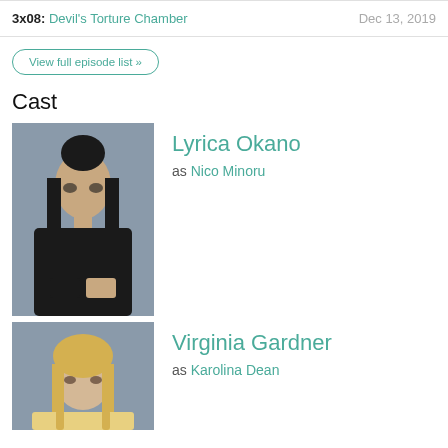3x08: Devil's Torture Chamber  Dec 13, 2019
View full episode list »
Cast
[Figure (photo): Photo of Lyrica Okano, actress with dark hair in gothic style clothing]
Lyrica Okano as Nico Minoru
[Figure (photo): Photo of Virginia Gardner, actress with blonde hair]
Virginia Gardner as Karolina Dean